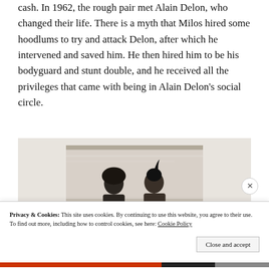cash. In 1962, the rough pair met Alain Delon, who changed their life. There is a myth that Milos hired some hoodlums to try and attack Delon, after which he intervened and saved him. He then hired him to be his bodyguard and stunt double, and he received all the privileges that came with being in Alain Delon's social circle.
[Figure (photo): Black and white photo of two people standing side by side, one with dark curly hair on the left and one on the right, against a light sky background.]
Privacy & Cookies: This site uses cookies. By continuing to use this website, you agree to their use.
To find out more, including how to control cookies, see here: Cookie Policy
Close and accept